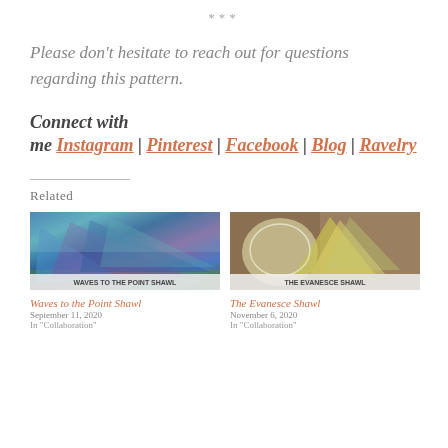***
Please don't hesitate to reach out for questions regarding this pattern.
Connect with me Instagram | Pinterest | Facebook | Blog | Ravelry
Related
[Figure (photo): Photo of a colorful striped triangular shawl in blues, purples, and pinks displayed on a mannequin outdoors. Label reads WAVES TO THE POINT SHAWL.]
Waves to the Point Shawl
September 11, 2020
In "Collaboration"
[Figure (photo): Photo of two shawls: one cream/lacy and one green/yellow triangular displayed on mannequins. Label reads THE EVANESCE SHAWL.]
The Evanesce Shawl
November 6, 2020
In "Collaboration"